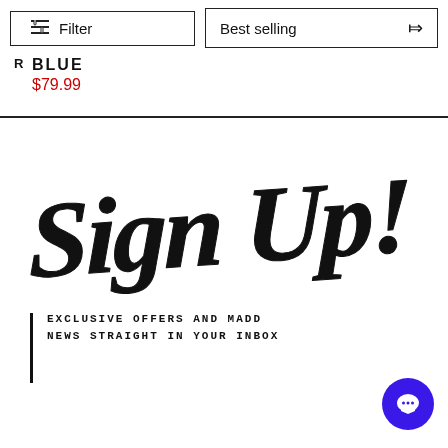Filter | Best selling
BLUE
$79.99
[Figure (illustration): Handwritten brush-script 'Sign Up!' text in large bold black lettering]
EXCLUSIVE OFFERS AND MADD NEWS STRAIGHT IN YOUR INBOX